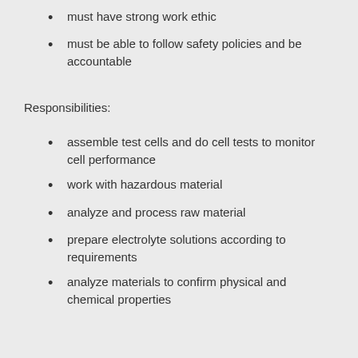must have strong work ethic
must be able to follow safety policies and be accountable
Responsibilities:
assemble test cells and do cell tests to monitor cell performance
work with hazardous material
analyze and process raw material
prepare electrolyte solutions according to requirements
analyze materials to confirm physical and chemical properties